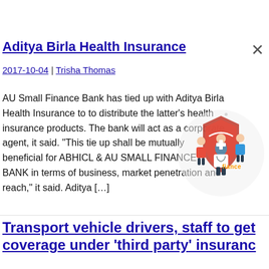AU Small Finance Bank ties up with Aditya Birla Health Insurance
2017-10-04 | Trisha Thomas
AU Small Finance Bank has tied up with Aditya Birla Health Insurance to to distribute the latter’s health insurance products. The bank will act as a corporate agent, it said. “This tie up shall be mutually beneficial for ABHICL & AU SMALL FINANCE BANK in terms of business, market penetration and reach,” it said. Aditya […]
[Figure (illustration): Illustration of healthcare workers/doctors with a shield icon]
Transport vehicle drivers, staff to get coverage under ‘third party’ insurance